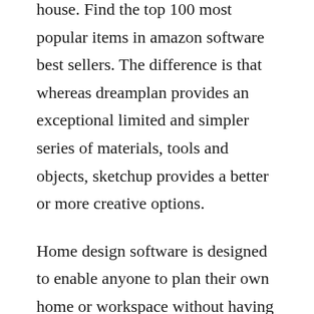house. Find the top 100 most popular items in amazon software best sellers. The difference is that whereas dreamplan provides an exceptional limited and simpler series of materials, tools and objects, sketchup provides a better or more creative options.
Home design software is designed to enable anyone to plan their own home or workspace without having to study to become an architect. Or just for learning purpose, here are some free and open source software for interior or house architecture designers. Most